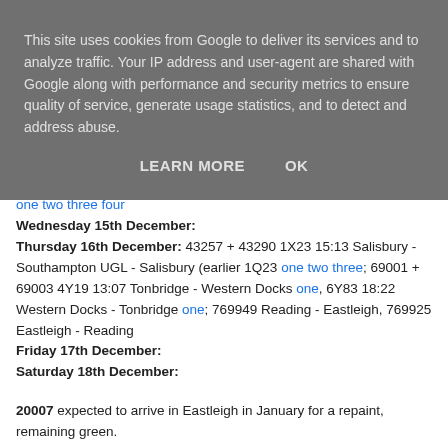This site uses cookies from Google to deliver its services and to analyze traffic. Your IP address and user-agent are shared with Google along with performance and security metrics to ensure quality of service, generate usage statistics, and to detect and address abuse.
LEARN MORE    OK
one two three four
Wednesday 15th December:
Thursday 16th December: 43257 + 43290 1X23 15:13 Salisbury - Southampton UGL - Salisbury (earlier 1Q23 one two three;  69001 + 69003 4Y19 13:07 Tonbridge - Western Docks one, 6Y83 18:22 Western Docks - Tonbridge one; 769949 Reading - Eastleigh, 769925 Eastleigh - Reading
Friday 17th December:
Saturday 18th December:
20007 expected to arrive in Eastleigh in January for a repaint, remaining green.